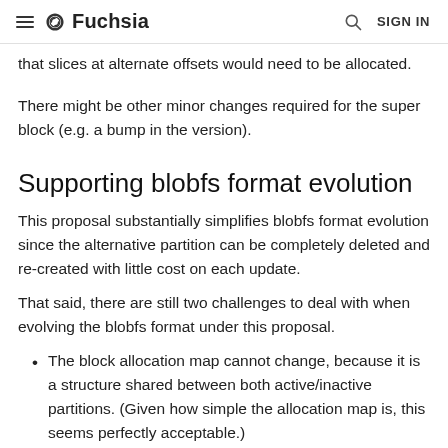≡ ∞ Fuchsia  🔍 SIGN IN
that slices at alternate offsets would need to be allocated.
There might be other minor changes required for the super block (e.g. a bump in the version).
Supporting blobfs format evolution
This proposal substantially simplifies blobfs format evolution since the alternative partition can be completely deleted and re-created with little cost on each update.
That said, there are still two challenges to deal with when evolving the blobfs format under this proposal.
The block allocation map cannot change, because it is a structure shared between both active/inactive partitions. (Given how simple the allocation map is, this seems perfectly acceptable.)